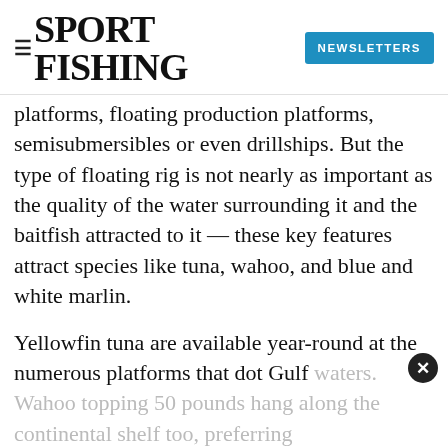SPORT FISHING  NEWSLETTERS
platforms, floating production platforms, semisubmersibles or even drillships. But the type of floating rig is not nearly as important as the quality of the water surrounding it and the baitfish attracted to it — these key features attract species like tuna, wahoo, and blue and white marlin.
Yellowfin tuna are available year-round at the numerous platforms that dot Gulf waters. Wahoo topping 50 pounds hang along the continental shelf too, preferring